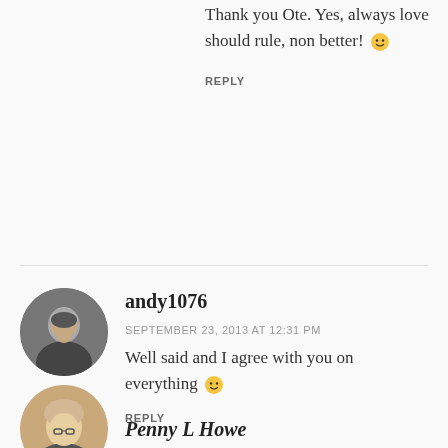Thank you Ote. Yes, always love should rule, non better! 🙂
REPLY
[Figure (photo): Circular avatar photo of andy1076, a man in dark clothing]
andy1076
SEPTEMBER 23, 2013 AT 12:31 PM
Well said and I agree with you on everything 🙂
REPLY
[Figure (photo): Circular avatar photo of Penny L Howe, a woman with glasses and blonde hair]
Penny L Howe